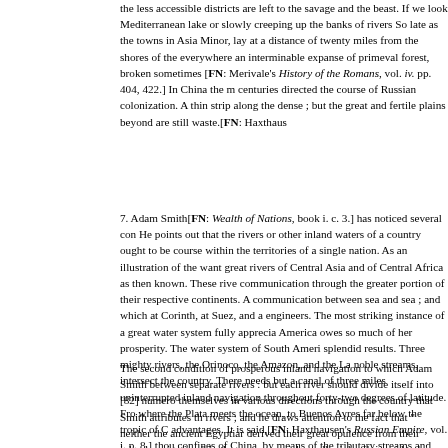the less accessible districts are left to the savage and the beast. If we look Mediterranean lake or slowly creeping up the banks of rivers So late as the towns in Asia Minor, lay at a distance of twenty miles from the shores of the everywhere an interminable expanse of primeval forest, broken sometimes [FN: Merivale's History of the Romans, vol. iv. pp. 404, 422.] In China the m centuries directed the course of Russian colonization. A thin strip along the dense ; but the great and fertile plains beyond are still waste.[FN: Haxthaus
7. Adam Smith[FN: Wealth of Nations, book i. c. 3.] has noticed several con He points out that the rivers or other inland waters of a country ought to be course within the territories of a single nation. As an illustration of the want great rivers of Central Asia and of Central Africa as then known. These rive communication through the greater portion of their respective continents. A communication between sea and sea ; and which at Corinth, at Suez, and a engineers. The most striking instance of a great water system fully apprecia America owes so much of her prosperity. The water system of South Ameri splendid results. Three mighty rivers, the Orinoco, the Amazon, and the La noble streams, intersect the country. There needs but a canal of three miles uninterrupted inland navigation throughout forty-two degrees of latitude. Fro where the Plata meets the ocean, to Buenos Ayres far below the tropic of C advantages. It is said,[FN: Haxthausen's Russian Empire, vol. i. p. 8.] thou confines of China, by means of the tributary streams and small canals. It ha sixty miles) of canals would be required to enable vessels to pass from St. l
The second condition of prosperous inland navigation to which Adam Smith between separate rivers : but each river should divide itself into [82] numero themselves in various directions through the country that Smith attributes th rivers ; and he draws attention to the fact that " neither the ancient Egyptiar derived their great opulence from their inland navigation." In the same man richest alluvial soil, is said to be intersected in every direction by navigable communication. Mention has already been made of the numerous tributarie ocean by many channels. In their case there seems every reasonable grou wilds are inhabited by civilized man, the tributaries of those three great rive